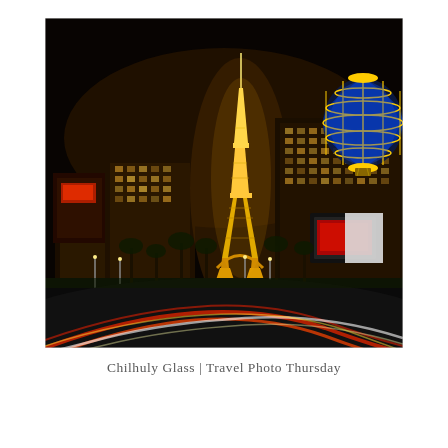[Figure (photo): Night photograph of the Las Vegas Strip showing the illuminated replica Eiffel Tower at Paris Las Vegas, the Bally's hot air balloon globe sign in blue and gold, casino hotel buildings glowing with amber and yellow lights, palm trees, and streaking red and white light trails from car traffic on the Strip in the foreground, all set against a dark night sky.]
Chilhuly Glass | Travel Photo Thursday